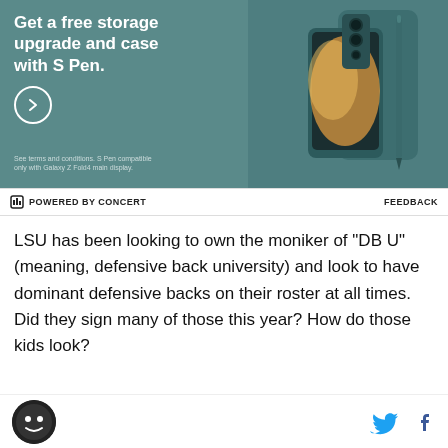[Figure (photo): Samsung Galaxy Z Fold4 advertisement. Teal/dark green background. Left side shows white text: 'Get a free storage upgrade and case with S Pen.' with a circle arrow button and fine print 'See terms and conditions. S Pen compatible only with Galaxy Z Fold4 main display.' Right side shows the Samsung Galaxy Z Fold4 phone in teal with a stylus.]
⊡ POWERED BY CONCERT    FEEDBACK
LSU has been looking to own the moniker of "DB U" (meaning, defensive back university) and look to have dominant defensive backs on their roster at all times. Did they sign many of those this year? How do those kids look?
All of those questions get you to the real crux of the